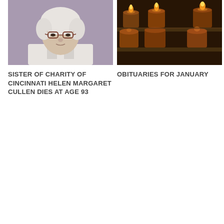[Figure (photo): Elderly woman with white hair and glasses, wearing a light-colored top, photographed against a purple/lavender background.]
SISTER OF CHARITY OF CINCINNATI HELEN MARGARET CULLEN DIES AT AGE 93
[Figure (photo): Multiple amber/orange votive candles lit in glass holders arranged on a reflective surface.]
OBITUARIES FOR JANUARY